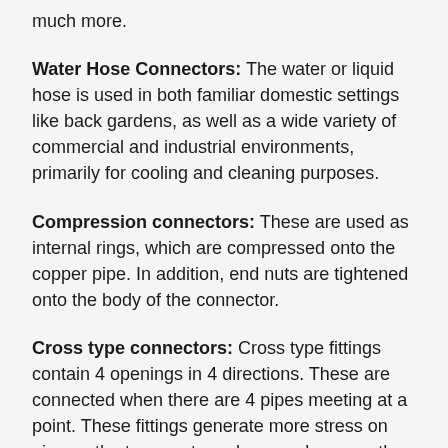much more.
Water Hose Connectors: The water or liquid hose is used in both familiar domestic settings like back gardens, as well as a wide variety of commercial and industrial environments, primarily for cooling and cleaning purposes.
Compression connectors: These are used as internal rings, which are compressed onto the copper pipe. In addition, end nuts are tightened onto the body of the connector.
Cross type connectors: Cross type fittings contain 4 openings in 4 directions. These are connected when there are 4 pipes meeting at a point. These fittings generate more stress on pipe as the temperature changes, because they are located at the center of four connection points.